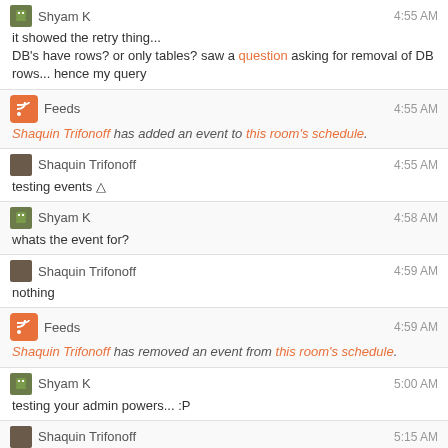it showed the retry thing...
DB's have rows? or only tables? saw a question asking for removal of DB rows... hence my query
Feeds 4:55 AM — Shaquin Trifonoff has added an event to this room's schedule.
Shaquin Trifonoff 4:55 AM — testing events △
Shyam K 4:58 AM — whats the event for?
Shaquin Trifonoff 4:59 AM — nothing
Feeds 4:59 AM — Shaquin Trifonoff has removed an event from this room's schedule.
Shyam K 5:00 AM — testing your admin powers... :P
Shaquin Trifonoff 5:15 AM
[Figure (infographic): Embedded profile card for Shaquin Trifonoff, New Zealand, reputation 3.1k, badges: 3 gold 7 silver 22 bronze, tags: php html css javascript mysql jquery ajax]